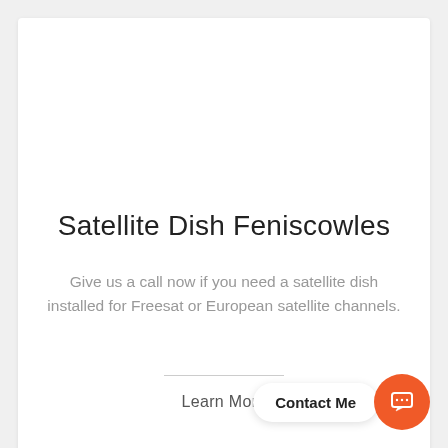Satellite Dish Feniscowles
Give us a call now if you need a satellite dish installed for Freesat or European satellite channels.
Learn More
Contact Me